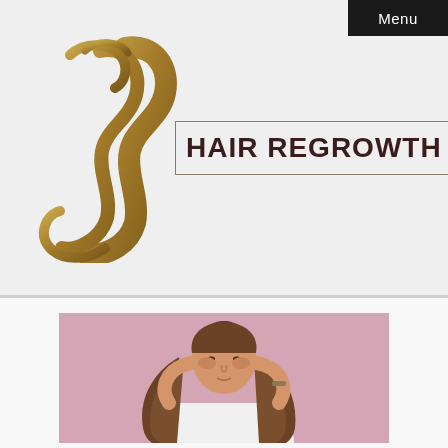Menu
[Figure (logo): Hair Regrowth Blog logo with stylized golden-brown flowing hair strands forming an S-shape, beside the text HAIR REGROWTH BLOG in dark brown bold letters inside a rectangular border]
[Figure (photo): Photo of a woman with long brown hair in a white top on a pink background, with her hands raised touching her hair/head]